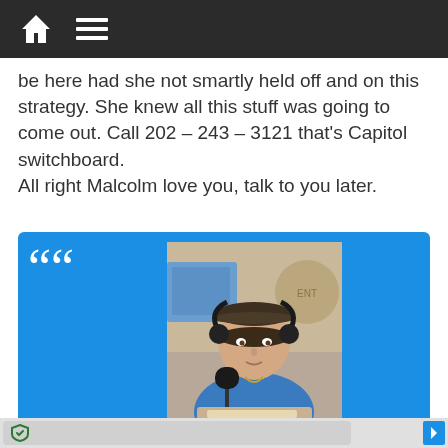be here had she not smartly held off and on this strategy. She knew all this stuff was going to come out. Call 202 – 243 – 3121 that's Capitol switchboard.
All right Malcolm love you, talk to you later.
[Figure (infographic): Blue card with large quotation mark, photo of Stephanie Miller at a radio microphone wearing a dark visor and headphones, with caption text below]
Stephanie Miller is on the air during morning drive hours